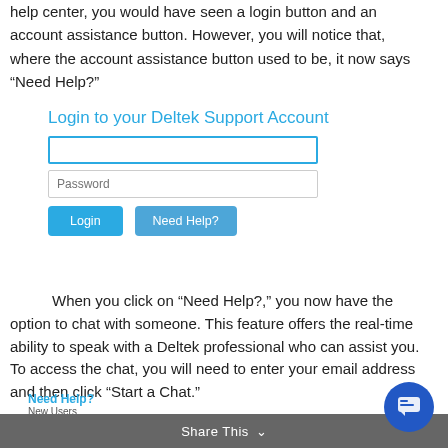help center, you would have seen a login button and an account assistance button. However, you will notice that, where the account assistance button used to be, it now says “Need Help?”
[Figure (screenshot): Screenshot of Deltek Support Account login form with fields for username and password, and Login and Need Help? buttons]
When you click on “Need Help?,” you now have the option to chat with someone. This feature offers the real-time ability to speak with a Deltek professional who can assist you. To access the chat, you will need to enter your email address and then click “Start a Chat.”
[Figure (screenshot): Need Help? panel showing New Users section with text about contacting Support Contact Manager and email field]
Share This